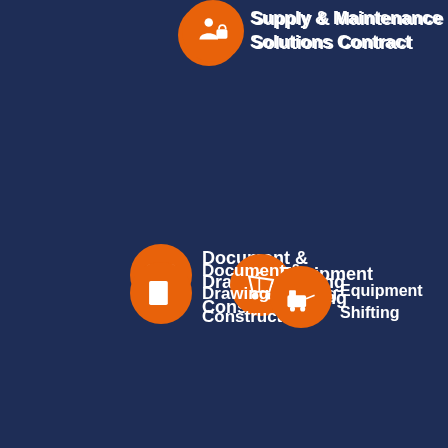[Figure (infographic): Orange circle icon with user/lock symbol, next to text: Supply & Maintenance Solutions Contract]
[Figure (infographic): Orange circle icon with display/screen symbol and orange circle icon with stroller/cart symbol, next to two text labels: Document & Drawing Shifting Construction and Equipment Shifting Construction]
[Figure (infographic): Orange circle icon with arch/gate symbol and orange circle icon with scan/frame symbol, next to two text labels: Door Access Control Solution and Projector & Screens]